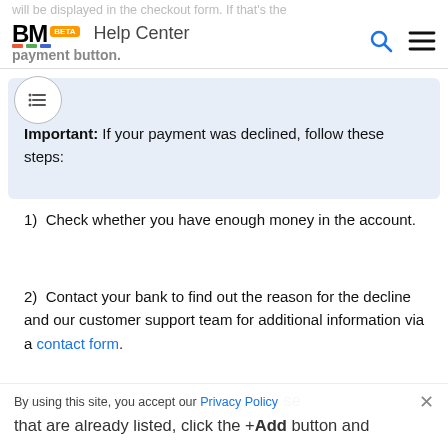BM BETA  Help Center
will be displayed in the checkout form. If that's the payment button.
Important: If your payment was declined, follow these steps:
1)  Check whether you have enough money in the account.
2)  Contact your bank to find out the reason for the decline and our customer support team for additional information via a contact form.
If you By using this site, you accept our Privacy Policy d choose that are already listed, click the +Add button and